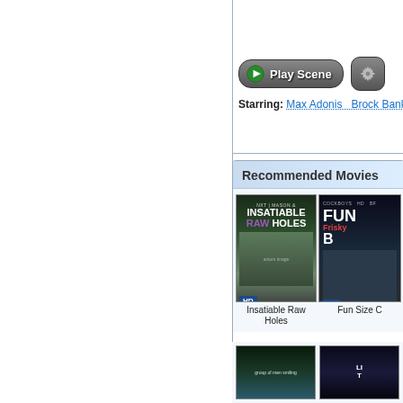[Figure (screenshot): Scenic outdoor thumbnail strip showing green landscape]
[Figure (screenshot): Play Scene button with green play icon and gear/settings icon]
Starring: Max Adonis  Brock Banks ...  Mo
Recommended Movies
[Figure (photo): Movie cover for Insatiable Raw Holes (HD)]
Insatiable Raw Holes
[Figure (photo): Movie cover for Fun Size C... (HD) - partially visible]
Fun Size C
[Figure (photo): Bottom left movie cover - group of men, partially visible]
[Figure (photo): Bottom right movie cover - dark blue theme, partially visible]